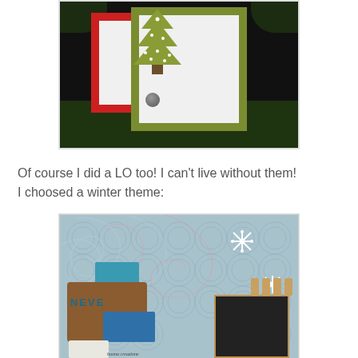[Figure (photo): A photo of a Christmas card/frame craft with a red frame and green frame, with a decorative Christmas tree ornament, set against dark pine/evergreen background]
Of course I did a LO too! I can't live without them! I choosed a winter theme:
[Figure (photo): A scrapbooking layout with a winter theme featuring a blue-grey patterned background with swirls, snowflake embellishments, a tag with 'NEVE' lettering, teal and dotted cards, a photo, and clothespin embellishments]